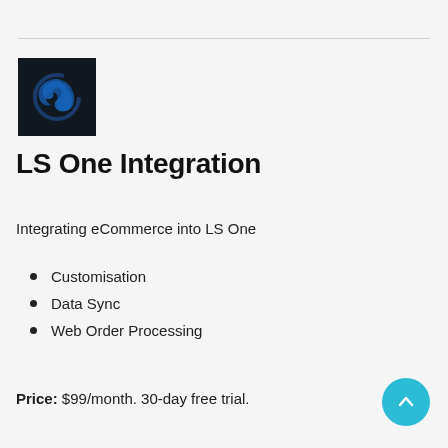[Figure (logo): LS One logo: dark navy/black square background with a blue spiral/shield letter S icon in center]
LS One Integration
Integrating eCommerce into LS One
Customisation
Data Sync
Web Order Processing
Price: $99/month. 30-day free trial.